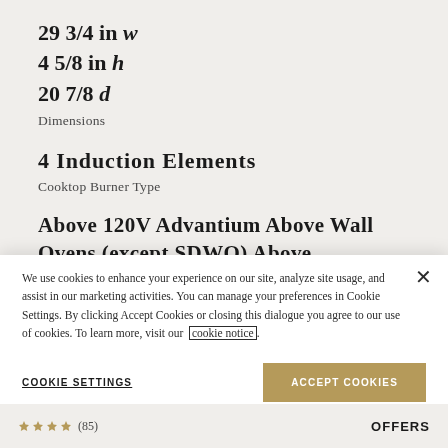29 3/4 in w
4 5/8 in h
20 7/8 d
Dimensions
4 Induction Elements
Cooktop Burner Type
Above 120V Advantium Above Wall Ovens (except SDWO) Above
We use cookies to enhance your experience on our site, analyze site usage, and assist in our marketing activities. You can manage your preferences in Cookie Settings. By clicking Accept Cookies or closing this dialogue you agree to our use of cookies. To learn more, visit our cookie notice.
COOKIE SETTINGS
ACCEPT COOKIES
(85)
OFFERS